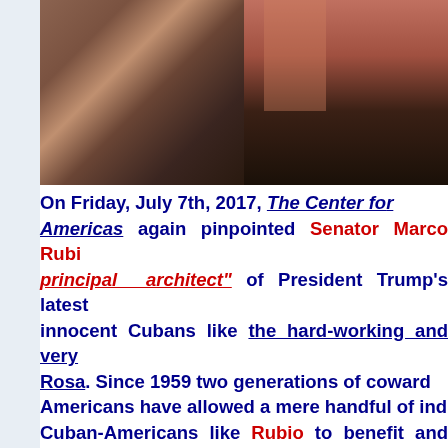[Figure (photo): Photograph of a person in a dark suit with a red tie, partially visible, sitting down. Background shows patterned fabric.]
On Friday, July 7th, 2017, The Center for Americas again pinpointed Senator Marco Rubio as the "principal architect" of President Trump's latest innocent Cubans like the hard-working and very Rosa. Since 1959 two generations of coward Americans have allowed a mere handful of ind Cuban-Americans like Rubio to benefit and pros Cubans on the island like Julia even though the Cuban-Americans even in Miami strongly disag Yet, it appears that only the likes of Rubio can g S. Congress from Miami...and therein lies the ca America and for democracy. If the UN vote do